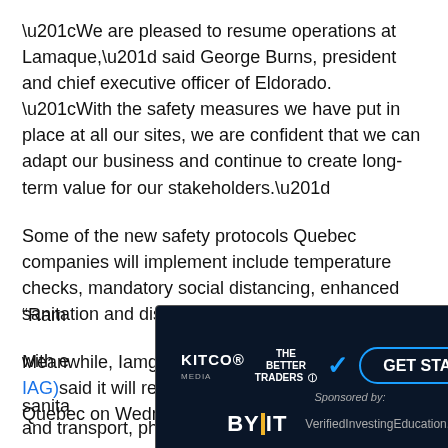“We are pleased to resume operations at Lamaque,” said George Burns, president and chief executive officer of Eldorado. “With the safety measures we have put in place at all our sites, we are confident that we can adapt our business and continue to create long-term value for our stakeholders.”
Some of the new safety protocols Quebec companies will implement include temperature checks, mandatory social distancing, enhanced sanitation and disinfecting.
Meanwhile, Iamgold Corp. (NYSEI IAG, TSX: IAG)said it will restart its Westwood Gold Mine in Quebec on Wednesday.
[Figure (infographic): Advertisement banner: Kitco Media / The Better Traders with a Get Started button, sponsored by ByBit and VerifiedInvestingEducation.com]
“Ramp…ek, with e…and sanita…ules and transport, physical distancing and protective equipment,” Iamgold said. “Protecting the health and